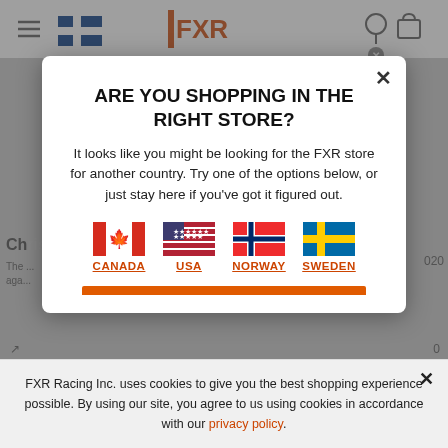[Figure (screenshot): Background website page (FXR Racing store) partially visible behind modal overlay, showing header with hamburger menu, Finland flag, FXR logo, and cart icons, plus grayed-out content area with partial text snippets including 'Ch...', 'The...', 'aga...' and numbers '020', '020']
ARE YOU SHOPPING IN THE RIGHT STORE?

It looks like you might be looking for the FXR store for another country. Try one of the options below, or just stay here if you've got it figured out.
CANADA  USA  NORWAY  SWEDEN
FXR Racing Inc. uses cookies to give you the best shopping experience possible. By using our site, you agree to us using cookies in accordance with our privacy policy.